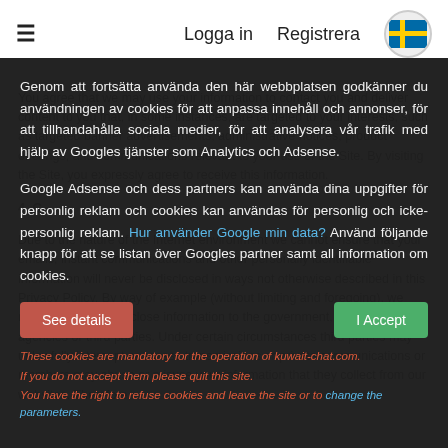≡  Logga in  Registrera  [SE flag]
You agree that we may use your information to contact you and deliver content to you that, in some instances, are targeted to your interests, such as targeted banner advertisements, administrative notices, product offerings, and communications relevant to your use of the Site. By visiting the Site, you expressly agree to receive this information.
4. C...
Due to the nature of the Internet environment we cannot ensure that your emails, instant communications and other personally identifiable information will never be disclosed in ways not otherwise described in this Privacy Policy. By way of example (without limiting and foregoing), we may be forced to disclose information to the government, law enforcement agencies or third parties. Under certain circumstances third parties may unlawfully intercept or access transmissions or private communications or members may abuse or misuse your information that they collect from our websites. Therefore, ...
Genom att fortsätta använda den här webbplatsen godkänner du användningen av cookies för att anpassa innehåll och annonser, för att tillhandahålla sociala medier, för att analysera vår trafik med hjälp av Googles tjänster som Analytics och Adsense.
Google Adsense och dess partners kan använda dina uppgifter för personlig reklam och cookies kan användas för personlig och icke-personlig reklam. Hur använder Google min data? Använd följande knapp för att se listan över Googles partner samt all information om cookies.
See details  |  I Accept
These cookies are mandatory for the operation of kuwait-chat.com. If you do not accept them please quit this site. You have the right to refuse cookies and leave the site or to change the parameters.